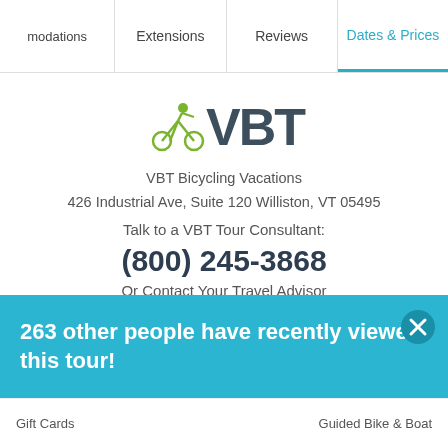modations | Extensions | Reviews | Dates & Prices
[Figure (logo): VBT cycling logo with green cyclist icon and large VBT text]
VBT Bicycling Vacations
426 Industrial Ave, Suite 120 Williston, VT 05495
Talk to a VBT Tour Consultant:
(800) 245-3868
Or Contact Your Travel Advisor
263 other people have recently viewed this tour!
Gift Cards    Guided Bike & Boat